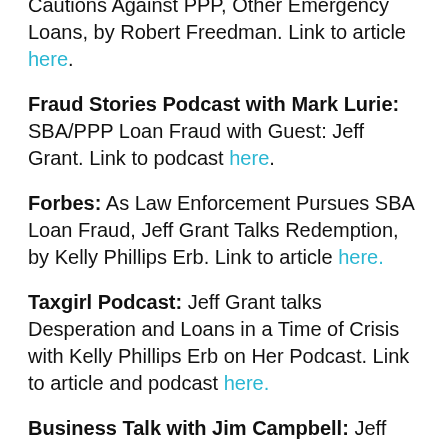Cautions Against PPP, Other Emergency Loans, by Robert Freedman. Link to article here.
Fraud Stories Podcast with Mark Lurie: SBA/PPP Loan Fraud with Guest: Jeff Grant. Link to podcast here.
Forbes: As Law Enforcement Pursues SBA Loan Fraud, Jeff Grant Talks Redemption, by Kelly Phillips Erb. Link to article here.
Taxgirl Podcast: Jeff Grant talks Desperation and Loans in a Time of Crisis with Kelly Phillips Erb on Her Podcast. Link to article and podcast here.
Business Talk with Jim Campbell: Jeff